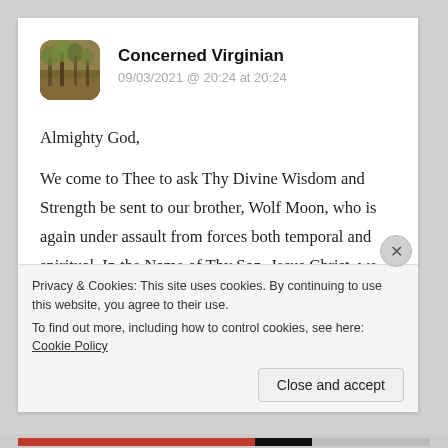[Figure (photo): Avatar image: forest/trees scene with warm tones, octagonal/rounded square crop]
Concerned Virginian
09/03/2021 @ 20:24 at 20:24
Almighty God,
We come to Thee to ask Thy Divine Wisdom and Strength be sent to our brother, Wolf Moon, who is again under assault from forces both temporal and spiritual. In the Name of Thy Son, Jesus Christ, we ask, and Thy Will be done.
Privacy & Cookies: This site uses cookies. By continuing to use this website, you agree to their use.
To find out more, including how to control cookies, see here: Cookie Policy
Close and accept